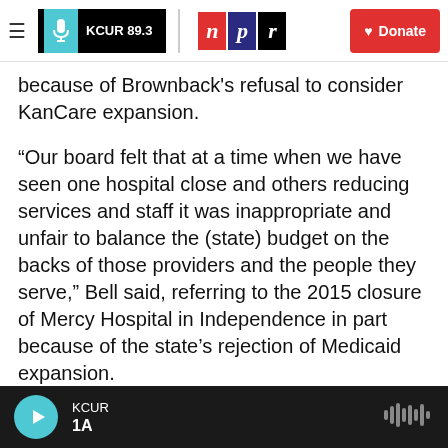KCUR 89.3 | npr | Donate
because of Brownback's refusal to consider KanCare expansion.
“Our board felt that at a time when we have seen one hospital close and others reducing services and staff it was inappropriate and unfair to balance the (state) budget on the backs of those providers and the people they serve,” Bell said, referring to the 2015 closure of Mercy Hospital in Independence in part because of the state’s rejection of Medicaid expansion.
A 2014 study commissioned by the hospital association found that expanding Kan...
KCUR 1A